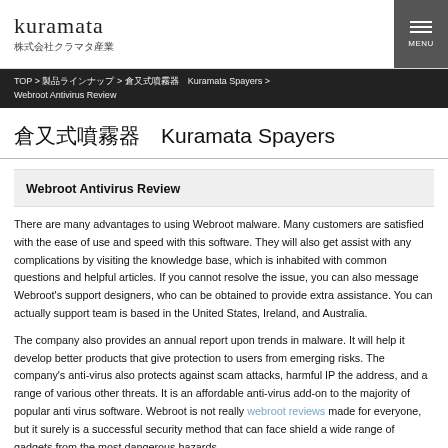kuramata 株式会社クラマタ産業
TOP > 製品ラインナップ > 倉又式噴霧器　Kuramata Spayers > Webroot Antivirus Review
倉又式噴霧器　Kuramata Spayers
Webroot Antivirus Review
There are many advantages to using Webroot malware. Many customers are satisfied with the ease of use and speed with this software. They will also get assist with any complications by visiting the knowledge base, which is inhabited with common questions and helpful articles. If you cannot resolve the issue, you can also message Webroot's support designers, who can be obtained to provide extra assistance. You can actually support team is based in the United States, Ireland, and Australia.
The company also provides an annual report upon trends in malware. It will help it develop better products that give protection to users from emerging risks. The company's anti-virus also protects against scam attacks, harmful IP the address, and a range of various other threats. It is an affordable anti-virus add-on to the majority of popular anti virus software. Webroot is not really webroot reviews made for everyone, but it surely is a successful security method that can face shield a wide range of gadgets from the most dangerous hazards.